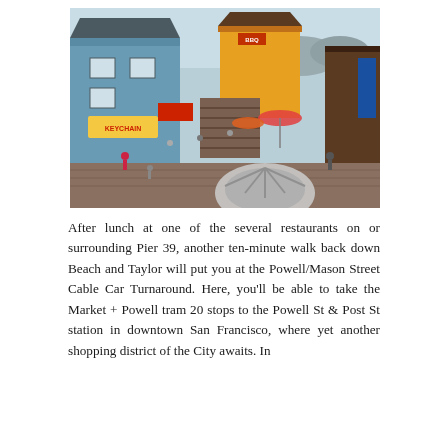[Figure (photo): Aerial/elevated view of Pier 39 in San Francisco showing a bustling waterfront marketplace with colorful wooden buildings, shops including a 'KEYCHAIN' store, outdoor seating areas, staircases, crowds of tourists, and a large wooden boardwalk. A spiral staircase structure is visible in the foreground.]
After lunch at one of the several restaurants on or surrounding Pier 39, another ten-minute walk back down Beach and Taylor will put you at the Powell/Mason Street Cable Car Turnaround. Here, you'll be able to take the Market + Powell tram 20 stops to the Powell St & Post St station in downtown San Francisco, where yet another shopping district of the City awaits. In